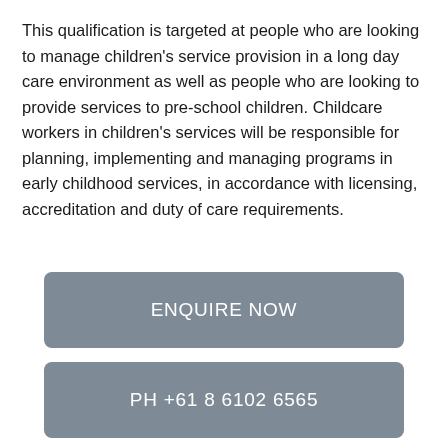This qualification is targeted at people who are looking to manage children's service provision in a long day care environment as well as people who are looking to provide services to pre-school children. Childcare workers in children's services will be responsible for planning, implementing and managing programs in early childhood services, in accordance with licensing, accreditation and duty of care requirements.
ENQUIRE NOW
PH +61 8 6102 6565